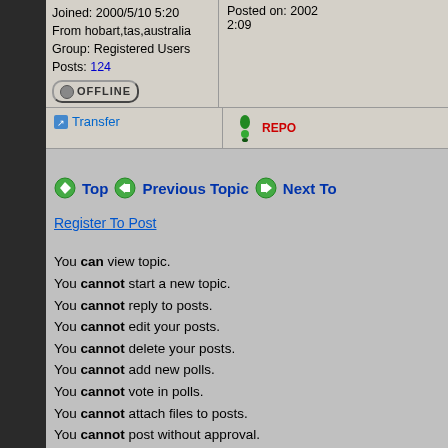Joined: 2000/5/10 5:20
From hobart,tas,australia
Group: Registered Users
Posts: 124
Posted on: 2002 2:09
Transfer
REPO...
Top   Previous Topic   Next To...
Register To Post
You can view topic.
You cannot start a new topic.
You cannot reply to posts.
You cannot edit your posts.
You cannot delete your posts.
You cannot add new polls.
You cannot vote in polls.
You cannot attach files to posts.
You cannot post without approval.